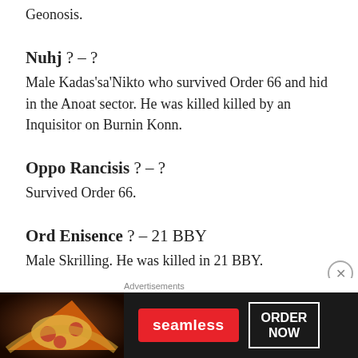Geonosis.
Nuhj ? – ?
Male Kadas'sa'Nikto who survived Order 66 and hid in the Anoat sector. He was killed killed by an Inquisitor on Burnin Konn.
Oppo Rancisis ? – ?
Survived Order 66.
Ord Enisence ? – 21 BBY
Male Skrilling. He was killed in 21 BBY.
[Figure (other): Seamless food delivery advertisement banner with pizza image, Seamless logo button, and ORDER NOW button]